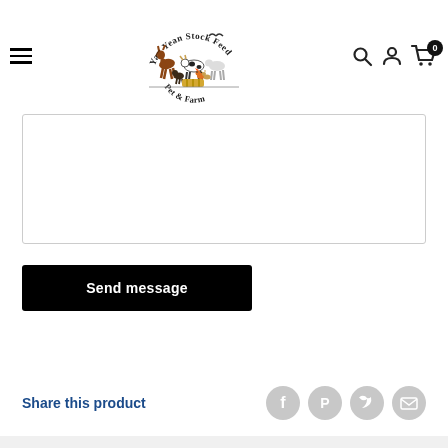[Figure (logo): Yan Yean Stock Feed Pet & Farm logo with farm animals]
[Figure (other): Message text input box (empty)]
[Figure (other): Send message button (black, white text)]
Share this product
[Figure (other): Social share icons: Facebook, Pinterest, Twitter, Email]